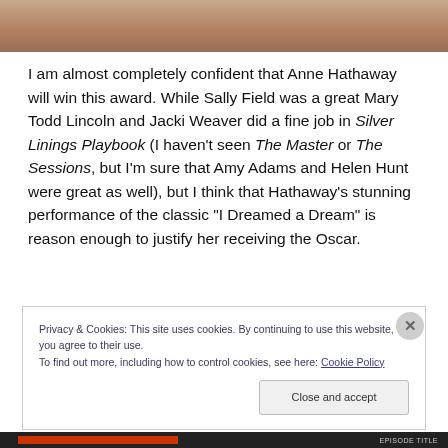[Figure (photo): Partial photo crop at top of page showing skin tones, likely a person's face/neck area]
I am almost completely confident that Anne Hathaway will win this award. While Sally Field was a great Mary Todd Lincoln and Jacki Weaver did a fine job in Silver Linings Playbook (I haven't seen The Master or The Sessions, but I'm sure that Amy Adams and Helen Hunt were great as well), but I think that Hathaway's stunning performance of the classic “I Dreamed a Dream” is reason enough to justify her receiving the Oscar.
Privacy & Cookies: This site uses cookies. By continuing to use this website, you agree to their use.
To find out more, including how to control cookies, see here: Cookie Policy